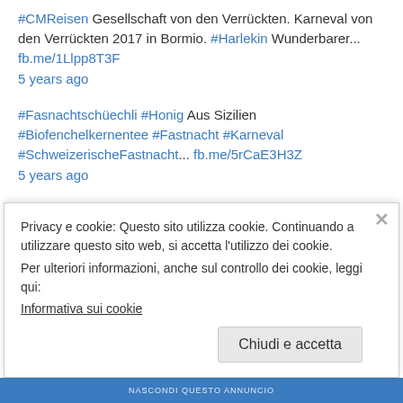#CMReisen Gesellschaft von den Verrückten. Karneval von den Verrückten 2017 in Bormio. #Harlekin Wunderbarer... fb.me/1Llpp8T3F
5 years ago
#Fasnachtschüechli #Honig Aus Sizilien #Biofenchelkernentee #Fastnacht #Karneval #SchweizerischeFastnacht... fb.me/5rCaE3H3Z
5 years ago
something went wrong [ del.icio.us] 5 years ago
Ambrosianische Fasnacht in Italien. In Grosio. Mit den alten Fasnachtsmasken wie, zum Beispiel, die vom Bär.... fb.me/8Jxi4ff1s
5 years ago
#Einbereniner #Einbereniner @CMio Reisen #CMR...
Privacy e cookie: Questo sito utilizza cookie. Continuando a utilizzare questo sito web, si accetta l'utilizzo dei cookie.
Per ulteriori informazioni, anche sul controllo dei cookie, leggi qui:
Informativa sui cookie
Chiudi e accetta